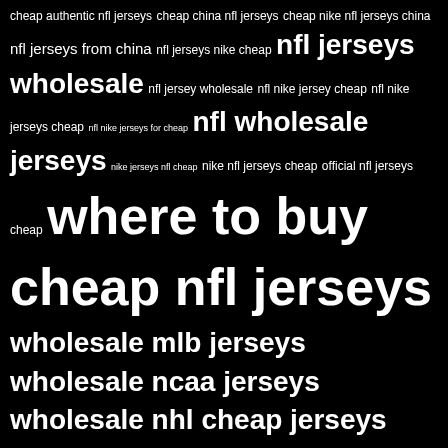[Figure (infographic): Tag cloud with various NFL jersey-related keyword phrases in different font sizes on a black background]
CATEGORIES
buy nfl jerseys cheap
buy nfl jerseys cheap wholesale
cheap nfl jerseys wholesale
Hats